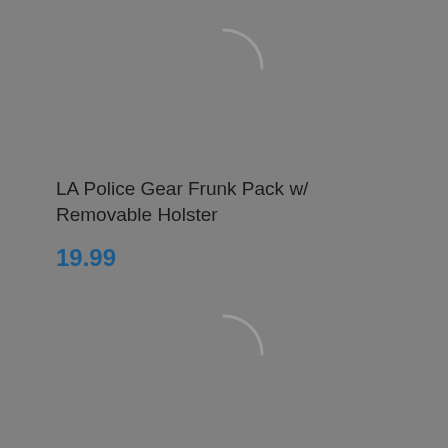[Figure (illustration): Loading spinner arc (top), partially visible circular loading indicator in gray]
LA Police Gear Frunk Pack w/ Removable Holster
19.99
[Figure (illustration): Loading spinner arc (bottom), partially visible circular loading indicator in gray]